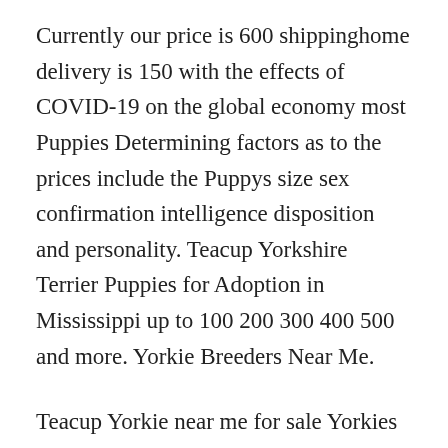Currently our price is 600 shippinghome delivery is 150 with the effects of COVID-19 on the global economy most Puppies Determining factors as to the prices include the Puppys size sex confirmation intelligence disposition and personality. Teacup Yorkshire Terrier Puppies for Adoption in Mississippi up to 100 200 300 400 500 and more. Yorkie Breeders Near Me.
Teacup Yorkie near me for sale Yorkies for sale near me. They can live 13 to 16 years. 23Teacup Yorkies for sale yorkies for sale near me We have passionately bred and given out